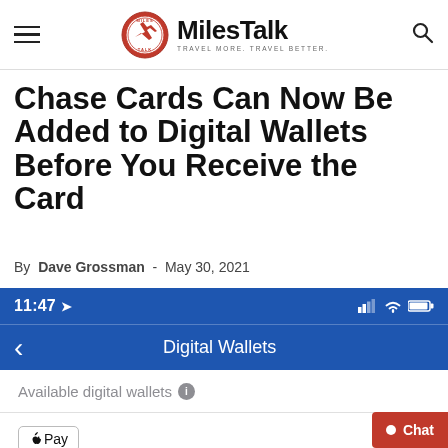MilesTalk — TRAVEL MORE. TRAVEL BETTER.
Chase Cards Can Now Be Added to Digital Wallets Before You Receive the Card
By Dave Grossman - May 30, 2021
[Figure (screenshot): Mobile phone screenshot showing a Chase app screen. Status bar shows 11:47 with signal and battery icons. Blue navigation bar shows a back arrow and 'Digital Wallets' as the page title. Below is a white section with 'Available digital wallets' label with an info icon, a divider line, and an Apple Pay logo button.]